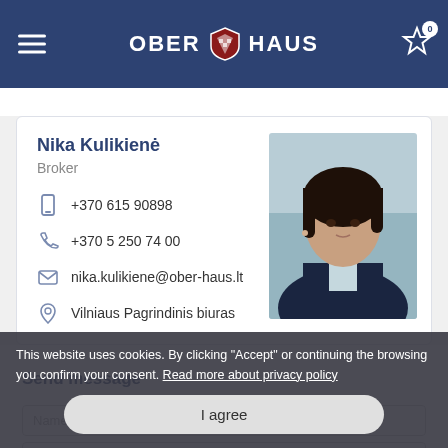OBER HAUS
Nika Kulikienė
Broker
+370 615 90898
+370 5 250 74 00
nika.kulikiene@ober-haus.lt
Vilniaus Pagrindinis biuras
[Figure (photo): Professional headshot of Nika Kulikienė, a woman with dark hair wearing a dark blazer]
Send message
This website uses cookies. By clicking "Accept" or continuing the browsing you confirm your consent. Read more about privacy policy
I agree